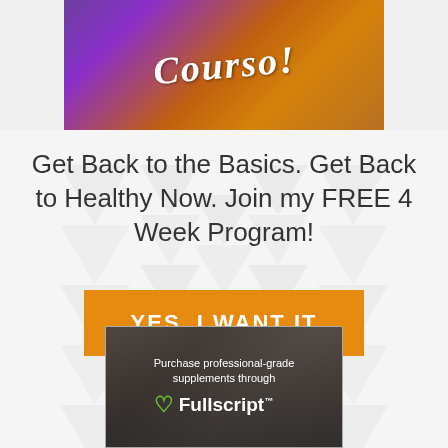[Figure (photo): Top portion of a colorful image with cursive text and colorful vegetables/carrots in purple, orange tones]
Get Back to the Basics. Get Back to Healthy Now. Join my FREE 4 Week Program!
[Figure (other): Orange button with text YES, I WANT IT]
[Figure (photo): Fullscript advertisement showing supplement bottles with text: Purchase professional-grade supplements through Fullscript]